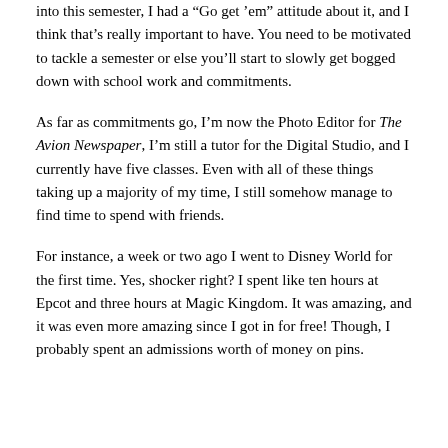into this semester, I had a “Go get ’em” attitude about it, and I think that’s really important to have. You need to be motivated to tackle a semester or else you’ll start to slowly get bogged down with school work and commitments.
As far as commitments go, I’m now the Photo Editor for The Avion Newspaper, I’m still a tutor for the Digital Studio, and I currently have five classes. Even with all of these things taking up a majority of my time, I still somehow manage to find time to spend with friends.
For instance, a week or two ago I went to Disney World for the first time. Yes, shocker right? I spent like ten hours at Epcot and three hours at Magic Kingdom. It was amazing, and it was even more amazing since I got in for free! Though, I probably spent an admissions worth of money on pins.